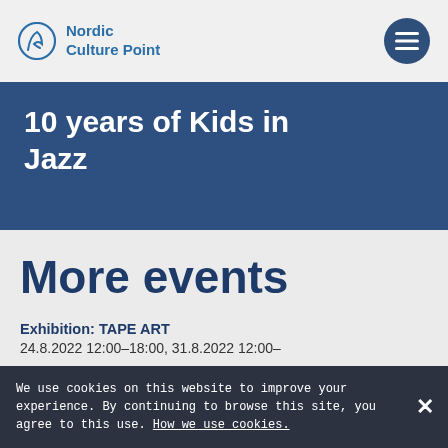Nordic Culture Point
10 years of Kids in Jazz
More events
Exhibition: TAPE ART
24.8.2022 12:00–18:00, 31.8.2022 12:00–
We use cookies on this website to improve your experience. By continuing to browse this site, you agree to this use. How we use cookies.